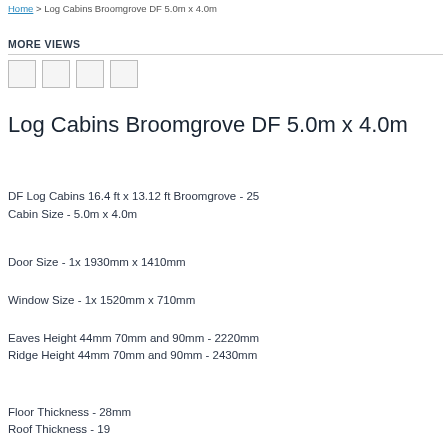Home > Log Cabins Broomgrove DF 5.0m x 4.0m
MORE VIEWS
[Figure (other): Four small thumbnail images in a row below MORE VIEWS header]
Log Cabins Broomgrove DF 5.0m x 4.0m
DF Log Cabins 16.4 ft x 13.12 ft Broomgrove - 25
Cabin Size - 5.0m x 4.0m
Door Size - 1x 1930mm x 1410mm
Window Size - 1x 1520mm x 710mm
Eaves Height 44mm 70mm and 90mm - 2220mm
Ridge Height 44mm 70mm and 90mm - 2430mm
Floor Thickness - 28mm
Roof Thickness - 19...